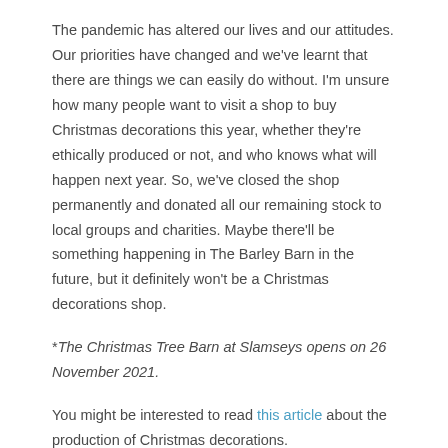The pandemic has altered our lives and our attitudes. Our priorities have changed and we've learnt that there are things we can easily do without. I'm unsure how many people want to visit a shop to buy Christmas decorations this year, whether they're ethically produced or not, and who knows what will happen next year. So, we've closed the shop permanently and donated all our remaining stock to local groups and charities. Maybe there'll be something happening in The Barley Barn in the future, but it definitely won't be a Christmas decorations shop.
*The Christmas Tree Barn at Slamseys opens on 26 November 2021.
You might be interested to read this article about the production of Christmas decorations.